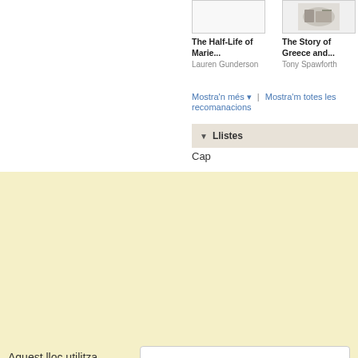The Half-Life of Marie...
Lauren Gunderson
The Story of Greece and...
Tony Spawforth
Mostra'n més ▼ | Mostra'm totes les recomanacions
▼ Llistes
Cap
Aquest lloc utilitza galetes per a oferir els nostres serveis, millorar el
Hi estic d'acord
desenvolupament, per a anàlisis i (si no has iniciat la sessió) per a publicitat. Utilitzant LibraryThing acceptes que has llegit i entès els nostres Termes de servei i política de privacitat. L'ús que facis del lloc i dels seus serveis està subjecte a aquestes polítiques i termes.